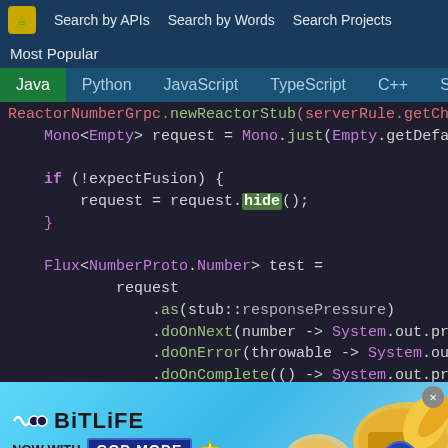Search by APIs  Search by Words  Search Projects
Most Popular
Java  Python  JavaScript  TypeScript  C++  Scala
[Figure (screenshot): Java code snippet showing Mono<Empty> request, if(!expectFusion) block with request.hide(), and Flux<NumberProto.Number> test chain with .as, .doOnNext, .doOnError, .doOnComplete, .doOnCancel, .take(10)]
[Figure (infographic): BitLife advertisement banner: BitLife NOW WITH GOD MODE with hand pointing graphic]